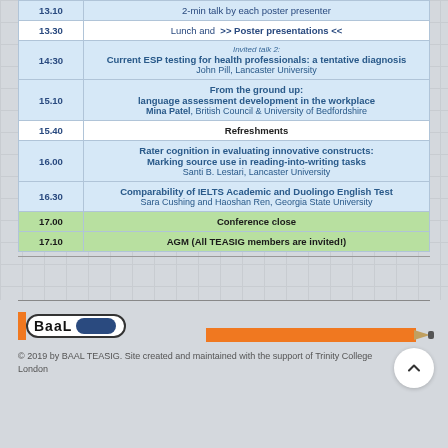| Time | Event |
| --- | --- |
| 13.10 | 2-min talk by each poster presenter |
| 13.30 | Lunch and >> Poster presentations << |
| 14:30 | Invited talk 2:
Current ESP testing for health professionals: a tentative diagnosis
John Pill, Lancaster University |
| 15.10 | From the ground up:
language assessment development in the workplace
Mina Patel, British Council & University of Bedfordshire |
| 15.40 | Refreshments |
| 16.00 | Rater cognition in evaluating innovative constructs:
Marking source use in reading-into-writing tasks
Santi B. Lestari, Lancaster University |
| 16.30 | Comparability of IELTS Academic and Duolingo English Test
Sara Cushing and Haoshan Ren, Georgia State University |
| 17.00 | Conference close |
| 17.10 | AGM (All TEASIG members are invited!) |
[Figure (logo): BAAL logo with orange bar and pencil graphic]
© 2019 by BAAL TEASIG. Site created and maintained with the support of Trinity College London